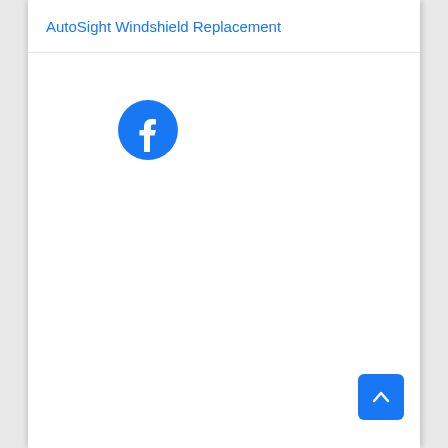AutoSight Windshield Replacement
[Figure (logo): Facebook logo icon — blue circle with white 'f' lettermark]
[Figure (other): Blue scroll-to-top button with upward chevron arrow in bottom right corner]